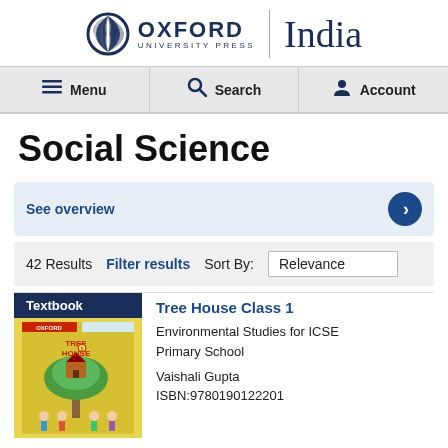[Figure (logo): Oxford University Press India logo with circular emblem, OXFORD UNIVERSITY PRESS text, vertical divider, and 'India' in serif font]
Menu | Search | Account
Social Science
See overview
42 Results   Filter results   Sort By:   Relevance
Textbook
Tree House Class 1
Environmental Studies for ICSE Primary School
Vaishali Gupta
ISBN:9780190122201